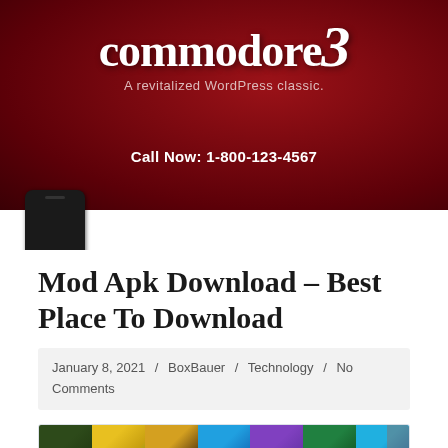[Figure (logo): Commodore 3 logo with text 'A revitalized WordPress classic.' on dark red background]
Call Now: 1-800-123-4567
Mod Apk Download – Best Place To Download
January 8, 2021 / BoxBauer / Technology / No Comments
[Figure (screenshot): Horizontal strip of app icon thumbnails showing various colorful app icons]